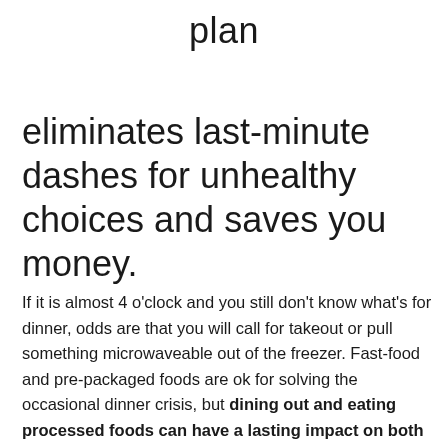plan
eliminates last-minute dashes for unhealthy choices and saves you money.
If it is almost 4 o'clock and you still don't know what's for dinner, odds are that you will call for takeout or pull something microwaveable out of the freezer. Fast-food and pre-packaged foods are ok for solving the occasional dinner crisis, but dining out and eating processed foods can have a lasting impact on both